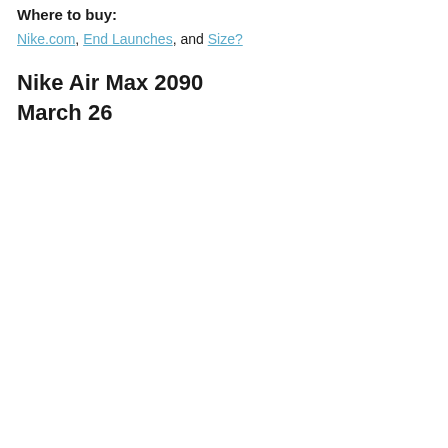Where to buy:
Nike.com, End Launches, and Size?
Nike Air Max 2090
March 26